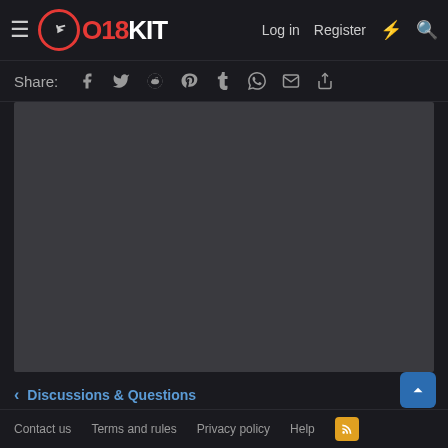O18KIT — Log in  Register
Share: [Facebook] [Twitter] [Reddit] [Pinterest] [Tumblr] [WhatsApp] [Email] [Link]
[Figure (other): Dark grey blank media/video placeholder area]
< Discussions & Questions
Contact us  Terms and rules  Privacy policy  Help  [RSS]